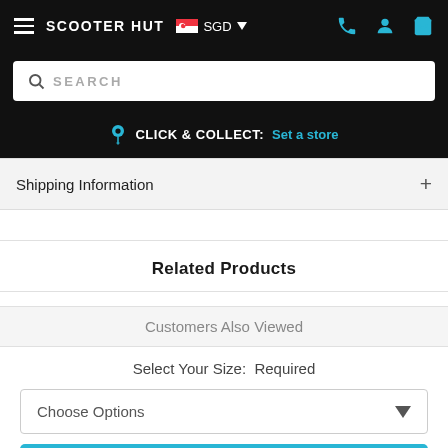SCOOTER HUT  SGD
SEARCH
CLICK & COLLECT:  Set a store
Shipping Information +
Related Products
Customers Also Viewed
Select Your Size:  Required
Choose Options
ADD TO CART